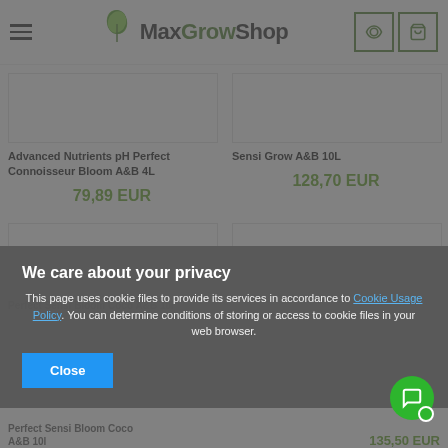MaxGrowShop
Advanced Nutrients pH Perfect Connoisseur Bloom A&B 4L
79,89 EUR
Sensi Grow A&B 10L
128,70 EUR
Perfect Sensi Bloom Coco A&B 10l
135,50 EUR
We care about your privacy
This page uses cookie files to provide its services in accordance to Cookie Usage Policy. You can determine conditions of storing or access to cookie files in your web browser.
Close